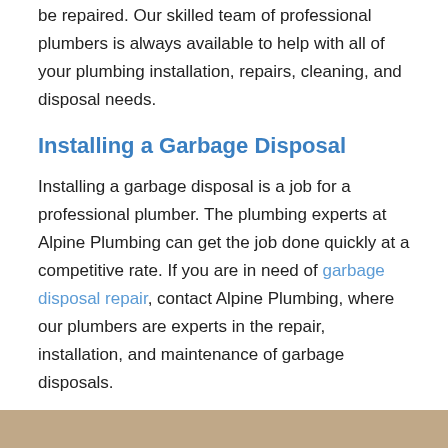be repaired. Our skilled team of professional plumbers is always available to help with all of your plumbing installation, repairs, cleaning, and disposal needs.
Installing a Garbage Disposal
Installing a garbage disposal is a job for a professional plumber. The plumbing experts at Alpine Plumbing can get the job done quickly at a competitive rate. If you are in need of garbage disposal repair, contact Alpine Plumbing, where our plumbers are experts in the repair, installation, and maintenance of garbage disposals.
Contact Alpine Plumbing for all of your Garbage Disposal needs at 262-797-4130.
[Figure (photo): Partial photo strip at bottom of page, showing an image (partially cut off)]